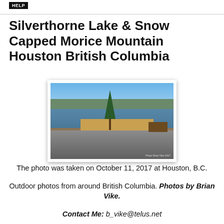HELP
Silverthorne Lake & Snow Capped Morice Mountain Houston British Columbia
[Figure (photo): Photograph of Silverthorne Lake with snow-capped Morice Mountain in the background, taken at Houston, B.C. Foreground shows a picnic area with dry reeds, a gravel ground, and a wooden picnic table on the right. A conifer tree stands prominently. Watermark reads: Photo Brian Vike 2017.]
The photo was taken on October 11, 2017 at Houston, B.C.
Outdoor photos from around British Columbia. Photos by Brian Vike.
Contact Me: b_vike@telus.net